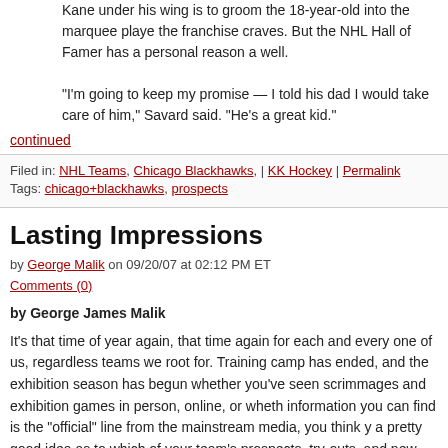Kane under his wing is to groom the 18-year-old into the marquee player the franchise craves. But the NHL Hall of Famer has a personal reason as well.

"I'm going to keep my promise — I told his dad I would take care of him," Savard said. "He's a great kid."
continued
Filed in: NHL Teams, Chicago Blackhawks, | KK Hockey | Permalink
Tags: chicago+blackhawks, prospects
Lasting Impressions
by George Malik on 09/20/07 at 02:12 PM ET
Comments (0)
by George James Malik
It's that time of year again, that time again for each and every one of us, regardless teams we root for. Training camp has ended, and the exhibition season has begun whether you've seen scrimmages and exhibition games in person, online, or whether information you can find is the "official" line from the mainstream media, you think you a pretty good idea as to which of your team's prospects, try-outs, and new free agents going to pan out—especially if you've seen them in action.
Continue Reading »